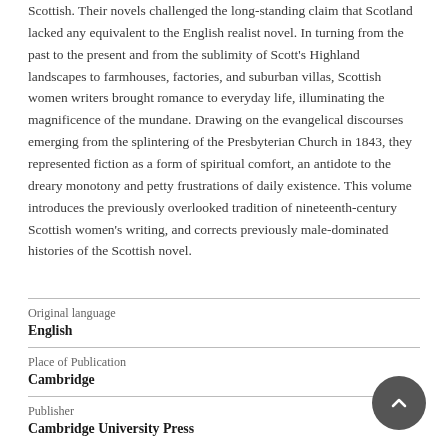Scottish. Their novels challenged the long-standing claim that Scotland lacked any equivalent to the English realist novel. In turning from the past to the present and from the sublimity of Scott's Highland landscapes to farmhouses, factories, and suburban villas, Scottish women writers brought romance to everyday life, illuminating the magnificence of the mundane. Drawing on the evangelical discourses emerging from the splintering of the Presbyterian Church in 1843, they represented fiction as a form of spiritual comfort, an antidote to the dreary monotony and petty frustrations of daily existence. This volume introduces the previously overlooked tradition of nineteenth-century Scottish women's writing, and corrects previously male-dominated histories of the Scottish novel.
| Original language | English |
| Place of Publication | Cambridge |
| Publisher | Cambridge University Press |